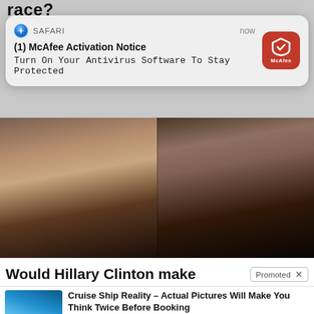race?
[Figure (screenshot): iOS Safari push notification: '(1) McAfee Activation Notice - Turn On Your Antivirus Software To Stay Protected' with McAfee red icon, time 'now']
[Figure (photo): Side-by-side photo of two women (Hillary Clinton and Kamala Harris)]
Would Hillary Clinton make
Promoted X
[Figure (photo): Aerial photo of cruise ship]
Cruise Ship Reality – Actual Pictures Will Make You Think Twice Before Booking
🔥 13,014
[Figure (photo): Photo of spices/food supplement]
A Teaspoon On An Empty Stomach Burns Fat Like Crazy!
🔥 150,336